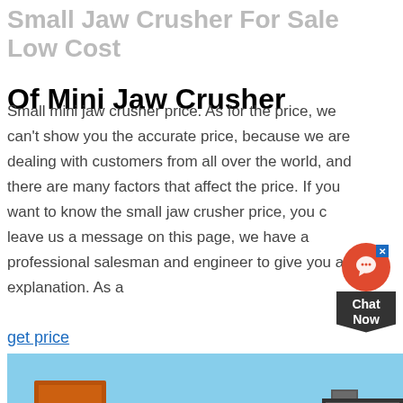Small Jaw Crusher For Sale Low Cost Of Mini Jaw Crusher
Small mini jaw crusher price. As for the price, we can't show you the accurate price, because we are dealing with customers from all over the world, and there are many factors that affect the price. If you want to know the small jaw crusher price, you can leave us a message on this page, we have a professional salesman and engineer to give you an explanation. As a
get price
[Figure (photo): Photo of industrial jaw crusher / cone crusher machinery equipment at a worksite, showing orange/rust-colored heavy machinery components including a cone crusher body with spring assembly, hopper, and control panel in outdoor setting.]